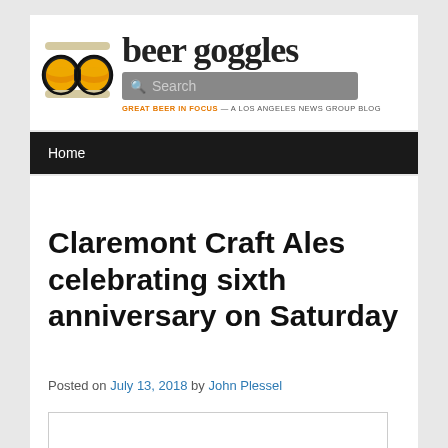[Figure (logo): Beer Goggles blog logo with ski goggle icon filled with amber beer color, site name 'beer goggles' in large serif text, tagline 'GREAT BEER IN FOCUS — A LOS ANGELES NEWS GROUP BLOG']
Home
← Previous   Next →
Claremont Craft Ales celebrating sixth anniversary on Saturday
Posted on July 13, 2018 by John Plessel